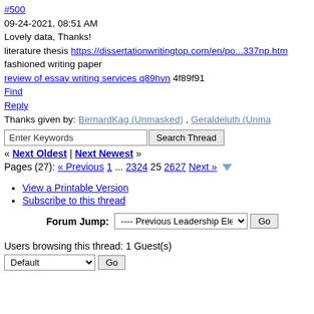#500 09-24-2021, 08:51 AM Lovely data, Thanks! literature thesis https://dissertationwritingtop.com/en/po...337np.htm fashioned writing paper review of essay writing services q89hvn 4f89f91
Find
Reply
Thanks given by: BernardKag (Unmasked) , Geraldeluth (Unma
Enter Keywords [Search Thread]
« Next Oldest | Next Newest »
Pages (27): « Previous 1 ... 23 24 25 26 27 Next »
View a Printable Version
Subscribe to this thread
Forum Jump: ---- Previous Leadership Elections  Go
Users browsing this thread: 1 Guest(s)
Default  Go